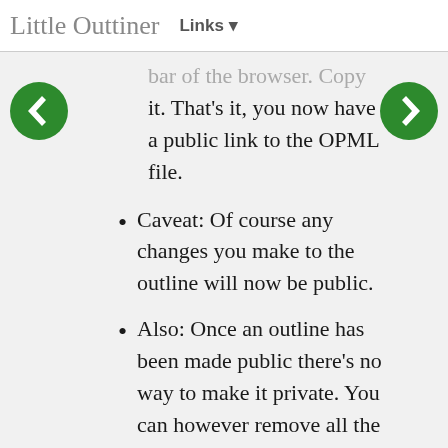Little Outtiner  Links ▾
bar of the browser. Copy it. That's it, you now have a public link to the OPML file.
Caveat: Of course any changes you make to the outline will now be public.
Also: Once an outline has been made public there's no way to make it private. You can however remove all the text from